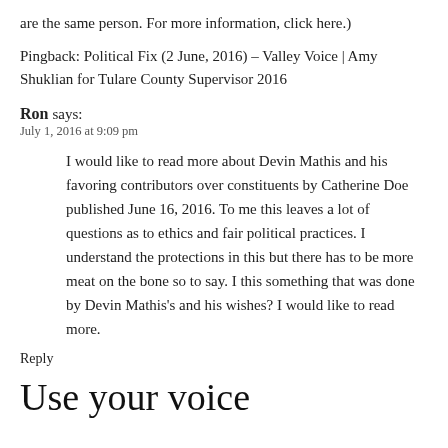are the same person. For more information, click here.)
Pingback: Political Fix (2 June, 2016) – Valley Voice | Amy Shuklian for Tulare County Supervisor 2016
Ron says:
July 1, 2016 at 9:09 pm
I would like to read more about Devin Mathis and his favoring contributors over constituents by Catherine Doe published June 16, 2016. To me this leaves a lot of questions as to ethics and fair political practices. I understand the protections in this but there has to be more meat on the bone so to say. I this something that was done by Devin Mathis's and his wishes? I would like to read more.
Reply
Use your voice